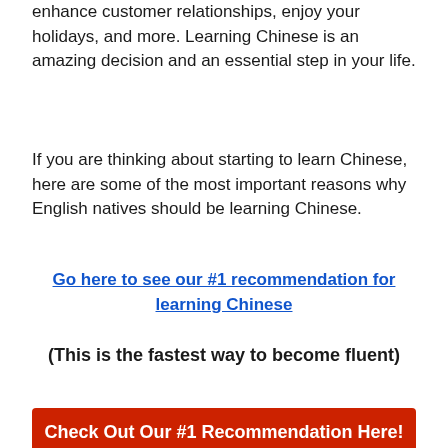enhance customer relationships, enjoy your holidays, and more. Learning Chinese is an amazing decision and an essential step in your life.
If you are thinking about starting to learn Chinese, here are some of the most important reasons why English natives should be learning Chinese.
Go here to see our #1 recommendation for learning Chinese
(This is the fastest way to become fluent)
Check Out Our #1 Recommendation Here!